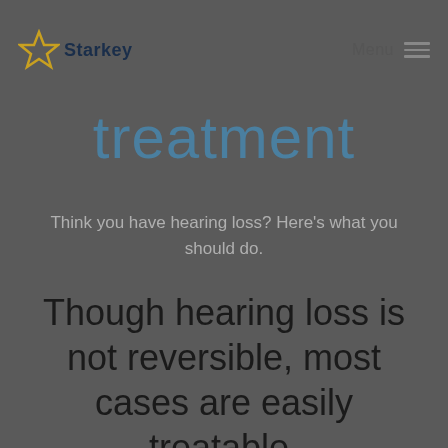Starkey  Menu
treatment
Think you have hearing loss? Here's what you should do.
Though hearing loss is not reversible, most cases are easily treatable.